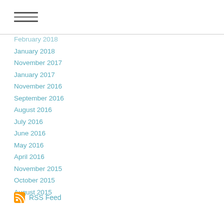February 2018
January 2018
November 2017
January 2017
November 2016
September 2016
August 2016
July 2016
June 2016
May 2016
April 2016
November 2015
October 2015
August 2015
RSS Feed